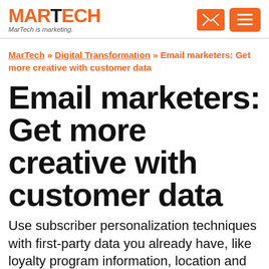MARTECH — MarTech is marketing.
MarTech » Digital Transformation » Email marketers: Get more creative with customer data
Email marketers: Get more creative with customer data
Use subscriber personalization techniques with first-party data you already have, like loyalty program information, location and